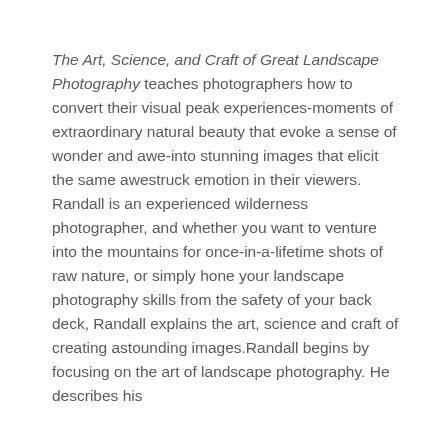The Art, Science, and Craft of Great Landscape Photography teaches photographers how to convert their visual peak experiences-moments of extraordinary natural beauty that evoke a sense of wonder and awe-into stunning images that elicit the same awestruck emotion in their viewers. Randall is an experienced wilderness photographer, and whether you want to venture into the mountains for once-in-a-lifetime shots of raw nature, or simply hone your landscape photography skills from the safety of your back deck, Randall explains the art, science and craft of creating astounding images.Randall begins by focusing on the art of landscape photography. He describes his